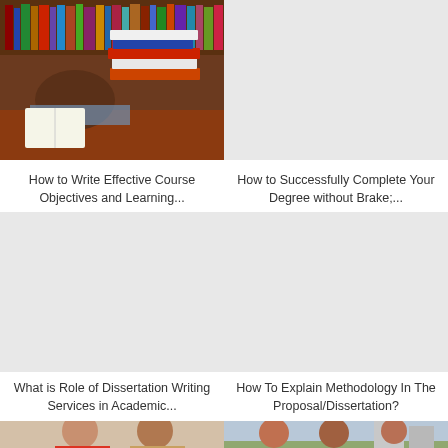[Figure (photo): Student sleeping on desk surrounded by stacks of books in a library]
[Figure (photo): Gray placeholder image (top right)]
How to Write Effective Course Objectives and Learning...
How to Successfully Complete Your Degree without Brake;...
[Figure (photo): Gray placeholder image (bottom left)]
[Figure (photo): Gray placeholder image (bottom right)]
What is Role of Dissertation Writing Services in Academic...
How To Explain Methodology In The Proposal/Dissertation?
[Figure (photo): Two students studying together, partial view at bottom left]
[Figure (photo): Group of students outdoors on campus, partial view at bottom right]